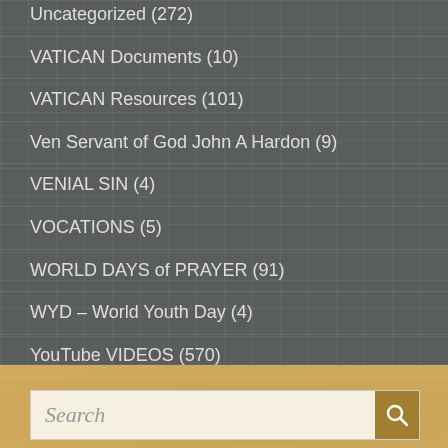Uncategorized (272)
VATICAN Documents (10)
VATICAN Resources (101)
Ven Servant of God John A Hardon (9)
VENIAL SIN (4)
VOCATIONS (5)
WORLD DAYS of PRAYER (91)
WYD – World Youth Day (4)
YouTube VIDEOS (570)
[ATRONAGE – FIRST COMMUNICANTS (1)
Search